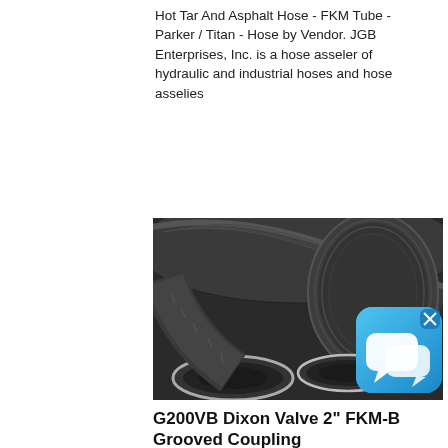Hot Tar And Asphalt Hose - FKM Tube - Parker / Titan - Hose by Vendor. JGB Enterprises, Inc. is a hose asseler of hydraulic and industrial hoses and hose asselies
[Figure (photo): Photo of black industrial rubber hoses (hot tar and asphalt hose) coiled and showing the ends, with ribbed exterior texture and silver metal fittings visible at the ends.]
[Figure (illustration): Blue rounded-square chat/messaging app icon with two speech bubbles, white on blue gradient background, with a small X close button in the top right corner.]
G200VB Dixon Valve 2" FKM-B Grooved Coupling
Unlike steel groove clamps that secure pipe ends with high clamp force against the tubing walls, the Dixon bolted clamp takes the full bolt force and locks in the groove of the tube preventing distortion of the